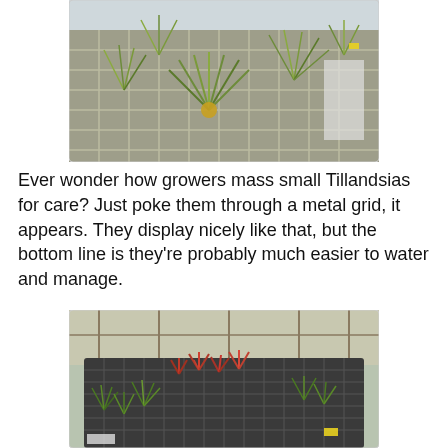[Figure (photo): Tillandsia air plants poked through a white metal grid/mesh tray in a greenhouse setting, with various sizes of plants visible and a yellow-tagged plant in the corner.]
Ever wonder how growers mass small Tillandsias for care? Just poke them through a metal grid, it appears. They display nicely like that, but the bottom line is they're probably much easier to water and manage.
[Figure (photo): A flat tray with a dark mesh grid holding rows of small Tillandsia/air plants, including red-tipped varieties arranged in a grid pattern inside a greenhouse.]